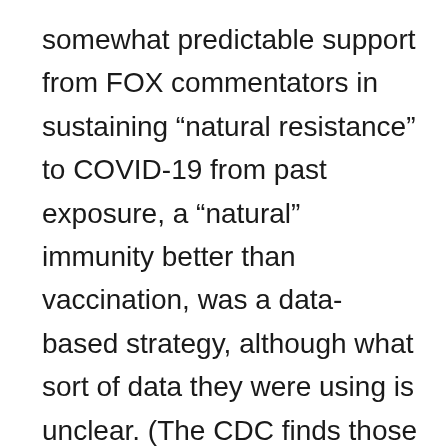somewhat predictable support from FOX commentators in sustaining “natural resistance” to COVID-19 from past exposure, a “natural” immunity better than vaccination, was a data-based strategy, although what sort of data they were using is unclear. (The CDC finds those who had recovered from COVID-19 but were not vaccinated were five times more likely to contract it again than the fully vaccinated.) The conflicts DeSantis’ office seemed to manage between a state economy dependent on tourism and the calendar of increased community transmission suggests a